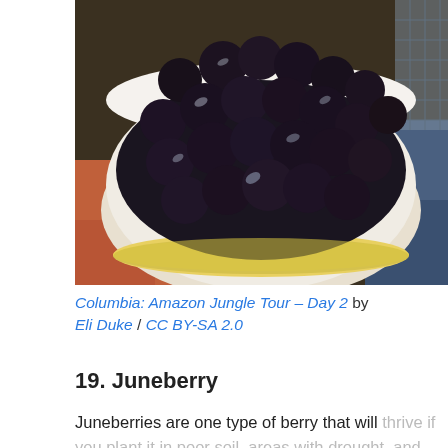[Figure (photo): A white bowl filled with dark purple/black berries (likely açaí or juneberries), held by a hand with a red background and a blue surface visible at right.]
Columbia: Amazon Jungle Tour – Day 2 by Eli Duke / CC BY-SA 2.0
19. Juneberry
Juneberries are one type of berry that will thrive if you plant it in poor soil, areas with drought, and areas with colder